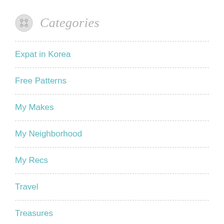Categories
Expat in Korea
Free Patterns
My Makes
My Neighborhood
My Recs
Travel
Treasures
Welcome